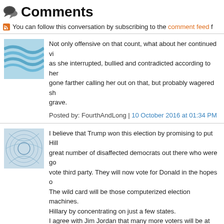Comments
You can follow this conversation by subscribing to the comment feed f
Not only offensive on that count, what about her continued vi... as she interrupted, bullied and contradicted according to her... gone farther calling her out on that, but probably wagered sh... grave.
Posted by: FourthAndLong | 10 October 2016 at 01:34 PM
I believe that Trump won this election by promising to put Hill... great number of disaffected democrats out there who were go... vote third party. They will now vote for Donald in the hopes o... The wild card will be those computerized election machines.... Hillary by concentrating on just a few states.
I agree with Jim Jordan that many more voters will be at the p... came out in the primaries by the millions and they won't stay... the democrat party who will stay home, thankful this embarras... Someone said last night that the "debate" was a cross betwe